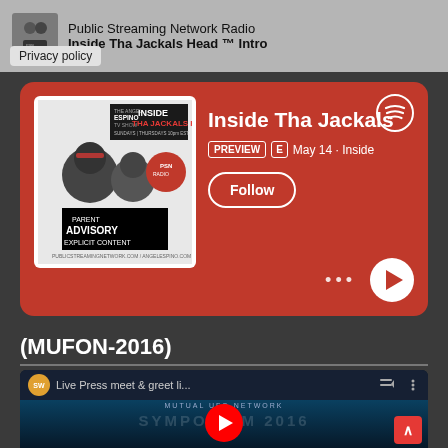[Figure (screenshot): Top notification bar showing Public Streaming Network Radio and Inside Tha Jackals Head TM Intro with Privacy policy button]
Public Streaming Network Radio
Inside Tha Jackals Head ™ Intro
Privacy policy
[Figure (screenshot): Spotify podcast card with red background showing Inside Tha Jackals Head podcast cover art, title truncated, PREVIEW and E badges, May 14 Inside date, Follow button, dots menu and play button]
Inside Tha Jackals Head
PREVIEW
E
May 14 · Inside
Follow
(MUFON-2016)
[Figure (screenshot): YouTube video embed showing Mutual UFO Network Symposium 2016, Live Press meet & greet li... with YouTube play button, channel logo, menu icons and scroll-to-top button]